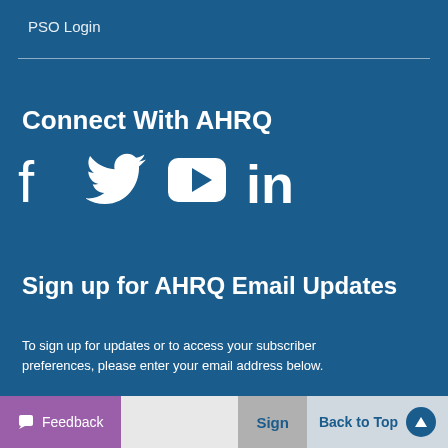PSO Login
Connect With AHRQ
[Figure (illustration): Social media icons: Facebook, Twitter, YouTube, LinkedIn in white on dark blue background]
Sign up for AHRQ Email Updates
To sign up for updates or to access your subscriber preferences, please enter your email address below.
Feedback | [email input field] | Sign | Back to Top